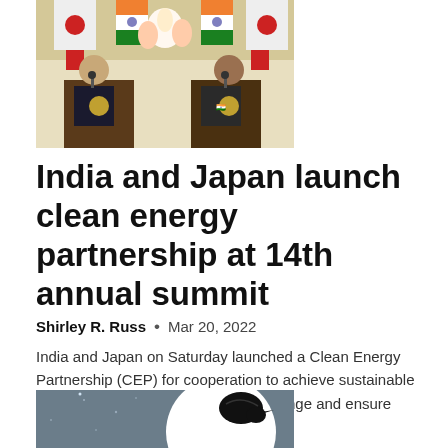[Figure (photo): Two political leaders standing at podiums with Indian and Japanese flags in the background, flowers in between them, at an official diplomatic event.]
India and Japan launch clean energy partnership at 14th annual summit
Shirley R. Russ  •  Mar 20, 2022
India and Japan on Saturday launched a Clean Energy Partnership (CEP) for cooperation to achieve sustainable economic growth, combat climate change and ensure energy...
[Figure (illustration): Illustration with a dark grey/blue background featuring a large white circle (moon or sun) and a black bird silhouette, with dotted star-like elements.]